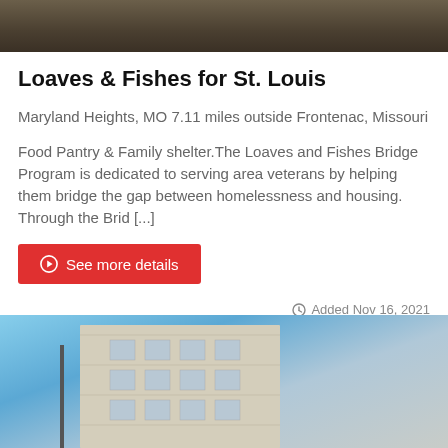[Figure (photo): Top portion of a photo showing a dark wooden or textured surface, partially cropped]
Loaves & Fishes for St. Louis
Maryland Heights, MO 7.11 miles outside Frontenac, Missouri
Food Pantry & Family shelter.The Loaves and Fishes Bridge Program is dedicated to serving area veterans by helping them bridge the gap between homelessness and housing. Through the Brid [...]
See more details
Added Nov 16, 2021
[Figure (photo): Bottom portion showing a multi-story stone or concrete building against a blue sky, partially cropped]